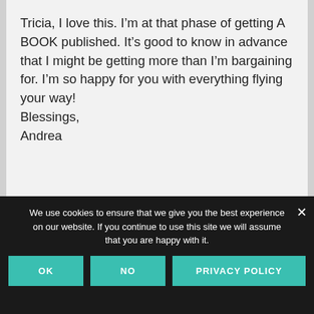Tricia, I love this. I'm at that phase of getting A BOOK published. It's good to know in advance that I might be getting more than I'm bargaining for. I'm so happy for you with everything flying your way!
Blessings,
Andrea
We use cookies to ensure that we give you the best experience on our website. If you continue to use this site we will assume that you are happy with it.